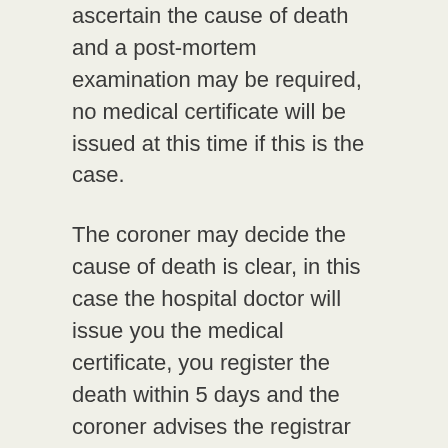ascertain the cause of death and a post-mortem examination may be required, no medical certificate will be issued at this time if this is the case.
The coroner may decide the cause of death is clear, in this case the hospital doctor will issue you the medical certificate, you register the death within 5 days and the coroner advises the registrar that no post mortem examination is required. If the cause of death is unclear a post-mortem examination may be required to ascertain the cause of death (you can't object to this). Once completed and if no further examinations are required the coroners' office will submit the relevant paperwork to the registrar stating the cause of death and what is to be entered on the register. You must then